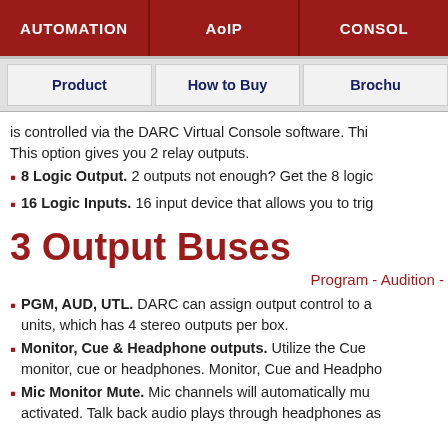AUTOMATION | AoIP | CONSOL
| Product | How to Buy | Brochu |
| --- | --- | --- |
is controlled via the DARC Virtual Console software. This option gives you 2 relay outputs.
8 Logic Output. 2 outputs not enough? Get the 8 logic
16 Logic Inputs. 16 input device that allows you to trig
3 Output Buses
Program - Audition -
PGM, AUD, UTL. DARC can assign output control to a units, which has 4 stereo outputs per box.
Monitor, Cue & Headphone outputs. Utilize the Cue monitor, cue or headphones. Monitor, Cue and Headpho
Mic Monitor Mute. Mic channels will automatically mu activated. Talk back audio plays through headphones as